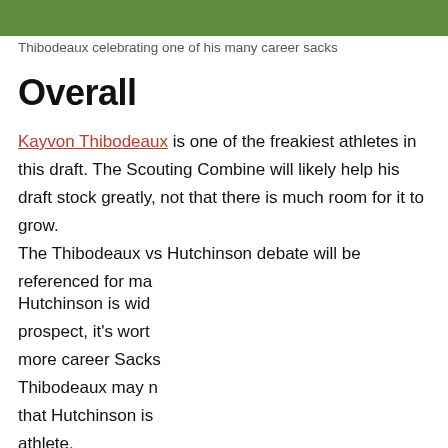[Figure (photo): Top portion of football field image showing grass]
Thibodeaux celebrating one of his many career sacks
Overall
Kayvon Thibodeaux is one of the freakiest athletes in this draft. The Scouting Combine will likely help his draft stock greatly, not that there is much room for it to grow.
The Thibodeaux vs Hutchinson debate will be referenced for ma... Hutchinson is wid... prospect, it's wort... more career Sacks... Thibodeaux may n... that Hutchinson is... athlete.
[Figure (photo): Overlay popup showing an NFL player (football player in white uniform) at a stadium with red seats. Banner reads 'Police looking for two suspects in R...' with a close button. A mute button (orange circle) and teal ring are visible.]